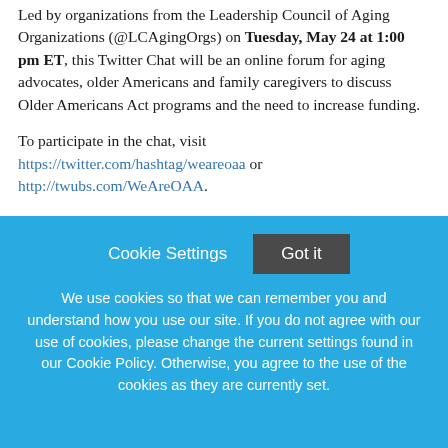Led by organizations from the Leadership Council of Aging Organizations (@LCAgingOrgs) on Tuesday, May 24 at 1:00 pm ET, this Twitter Chat will be an online forum for aging advocates, older Americans and family caregivers to discuss Older Americans Act programs and the need to increase funding.
To participate in the chat, visit https://twitter.com/hashtag/weareoaa or http://twubs.com/WeAreOAA.
Also, check out this #WeAreOAA Twitter Chat Guide for more information.
We hope you will join us to:
Cookie Settings  Got it
We use cookies so that we can remember you and understand how you use our site. If you do not agree with our use of cookies, please change the current settings found in our Cookie Policy. Otherwise, you agree to the use of the cookies as they are currently set.